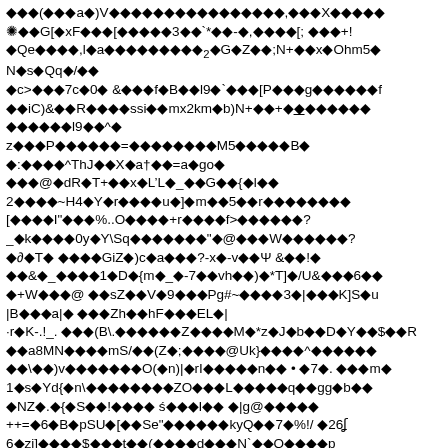Corrupted/encoded text content with diamond replacement characters mixed with ASCII symbols and partial words. The page appears to be a garbled or encoded document with mixed Unicode replacement characters (diamonds with question marks) interspersed with readable ASCII text fragments.